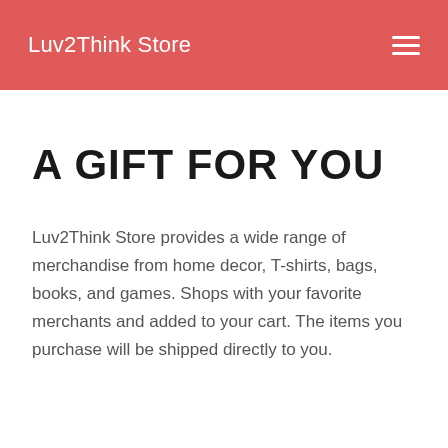Luv2Think Store
A GIFT FOR YOU
Luv2Think Store provides a wide range of merchandise from home decor, T-shirts, bags, books, and games. Shops with your favorite merchants and added to your cart. The items you purchase will be shipped directly to you.